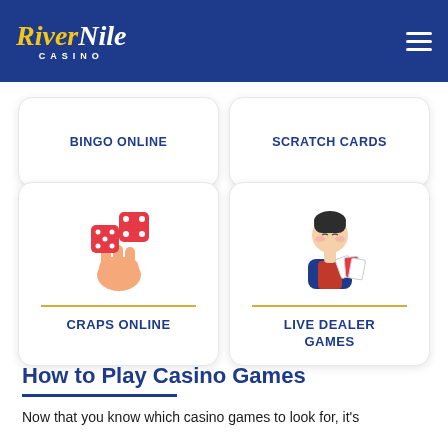[Figure (logo): RiverNile Casino logo with golden and white text on dark blue header background]
BINGO ONLINE
SCRATCH CARDS
[Figure (illustration): Hand tossing red dice illustration]
CRAPS ONLINE
[Figure (illustration): Cartoon casino dealer character holding cards]
LIVE DEALER GAMES
How to Play Casino Games
Now that you know which casino games to look for, it's